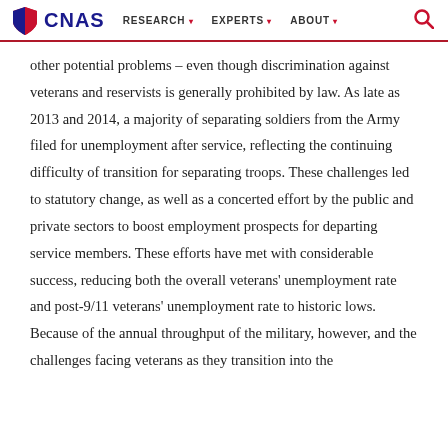CNAS | RESEARCH | EXPERTS | ABOUT
other potential problems – even though discrimination against veterans and reservists is generally prohibited by law. As late as 2013 and 2014, a majority of separating soldiers from the Army filed for unemployment after service, reflecting the continuing difficulty of transition for separating troops. These challenges led to statutory change, as well as a concerted effort by the public and private sectors to boost employment prospects for departing service members. These efforts have met with considerable success, reducing both the overall veterans' unemployment rate and post-9/11 veterans' unemployment rate to historic lows. Because of the annual throughput of the military, however, and the challenges facing veterans as they transition into the